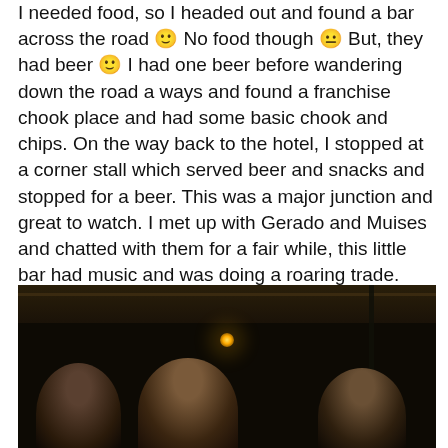I needed food, so I headed out and found a bar across the road 🙂 No food though 😐 But, they had beer 🙂 I had one beer before wandering down the road a ways and found a franchise chook place and had some basic chook and chips. On the way back to the hotel, I stopped at a corner stall which served beer and snacks and stopped for a beer. This was a major junction and great to watch. I met up with Gerado and Muises and chatted with them for a fair while, this little bar had music and was doing a roaring trade. There were a few other groups there as well as the owner and her son, I had a great night 🙂
[Figure (photo): Dark indoor photo showing three men at a bar, dimly lit with a warm light source visible in the background. The setting appears to be a small bar at night.]